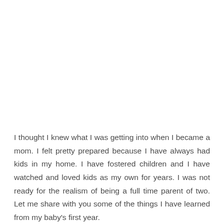I thought I knew what I was getting into when I became a mom. I felt pretty prepared because I have always had kids in my home. I have fostered children and I have watched and loved kids as my own for years. I was not ready for the realism of being a full time parent of two. Let me share with you some of the things I have learned from my baby's first year.